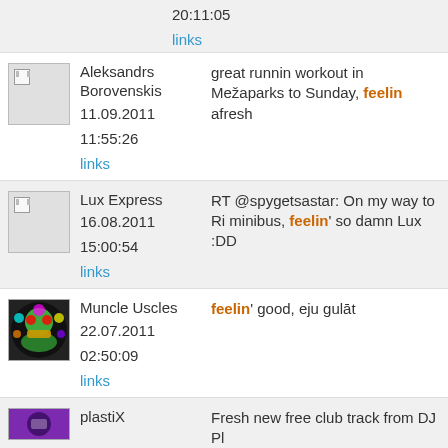20:11:05
links
Aleksandrs Borovenskis 11.09.2011 11:55:26
great runnin workout in Mežaparks to Sunday, feelin afresh
links
Lux Express 16.08.2011 15:00:54
RT @spygetsastar: On my way to Ri minibus, feelin' so damn Lux :DD
links
Muncle Uscles 22.07.2011 02:50:09
feelin' good, eju gulāt
links
plastiX
Fresh new free club track from DJ Pl